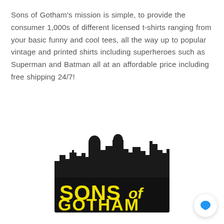Sons of Gotham's mission is simple, to provide the consumer 1,000s of different licensed t-shirts ranging from your basic funny and cool tees, all the way up to popular vintage and printed shirts including superheroes such as Superman and Batman all at an affordable price including free shipping 24/7!
[Figure (logo): Sons of Gotham logo: black city skyline silhouette above a black rectangular banner with bold yellow text reading 'SONS of GOTHAM']